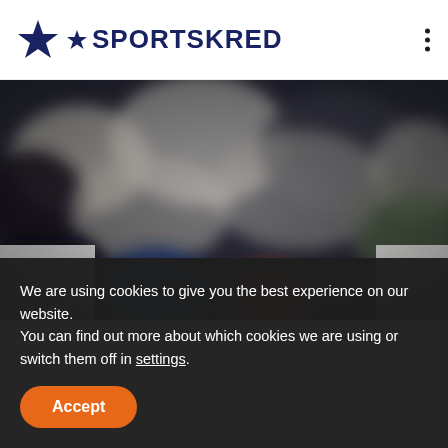SPORTSKRED
[Figure (photo): Blurred crowd scene at a sporting event with microphones in foreground, bokeh style photography]
We are using cookies to give you the best experience on our website.
You can find out more about which cookies we are using or switch them off in settings.
Accept